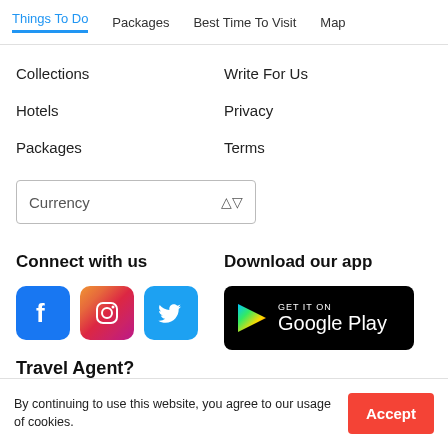Things To Do | Packages | Best Time To Visit | Map
Collections
Write For Us
Hotels
Privacy
Packages
Terms
Connect with us
[Figure (logo): Facebook, Instagram, Twitter social media icons]
Download our app
[Figure (logo): Get it on Google Play button]
Travel Agent?
Buy Travel Leads
By continuing to use this website, you agree to our usage of cookies.